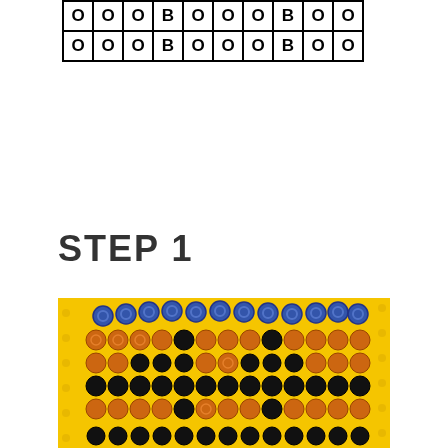[Figure (other): A bead pattern grid table showing two rows of circles labeled O and B in a pattern: O O O B O O O B O O]
STEP 1
[Figure (photo): A photo of a perler bead project in progress on a yellow pegboard, showing orange, blue, and black beads arranged in a pattern resembling a character or figure]